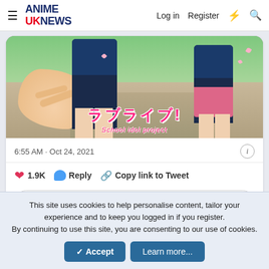ANIME UK NEWS  Log in  Register
[Figure (illustration): Anime image for Love Live! School Idol Project showing anime characters and Japanese title text]
6:55 AM · Oct 24, 2021
1.9K  Reply  Copy link to Tweet
Read 27 replies
↩ Reply
This site uses cookies to help personalise content, tailor your experience and to keep you logged in if you register.
By continuing to use this site, you are consenting to our use of cookies.
✓ Accept  Learn more...